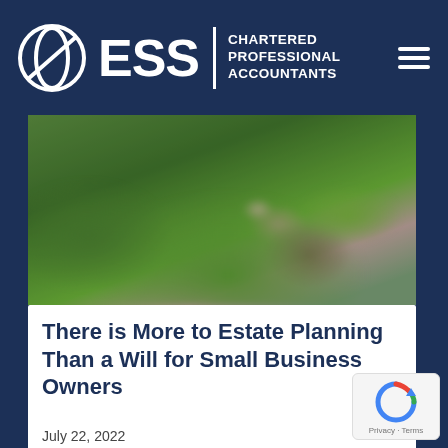ESS Chartered Professional Accountants
[Figure (photo): Aerial or close-up view of a green lawn with a curved garden bed and blurred foreground]
There is More to Estate Planning Than a Will for Small Business Owners
July 22, 2022